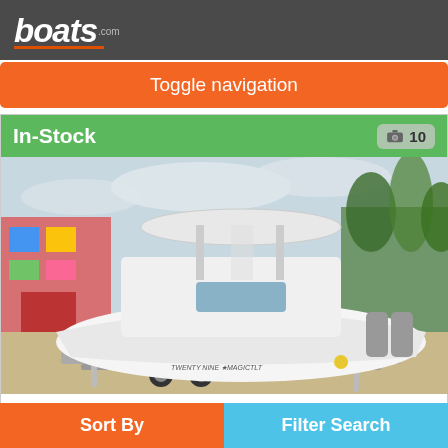boats.com
Toggle navigation
[Figure (screenshot): boats.com listing page showing a white Sportsman Heritage 231 Center Console boat on a trailer, parked on sandy ground with palm trees and a colorful building in the background. The boat has a T-top and twin outboard engines.]
In-Stock
10
Sportsman Heritage 231 Center Console
Sort By
Filter Search